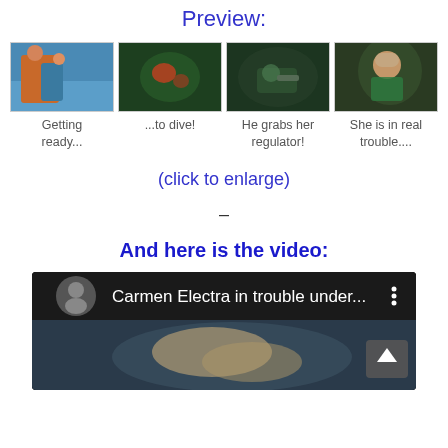Preview:
[Figure (photo): Four video thumbnail images in a row showing scenes from a video: two people at water, an underwater green scene, a person grabbing a regulator, and a woman in distress]
Getting ready...    ...to dive!    He grabs her regulator!    She is in real trouble....
(click to enlarge)
–
And here is the video:
[Figure (screenshot): YouTube video thumbnail showing Carmen Electra in trouble underwater, dark scene with underwater footage]